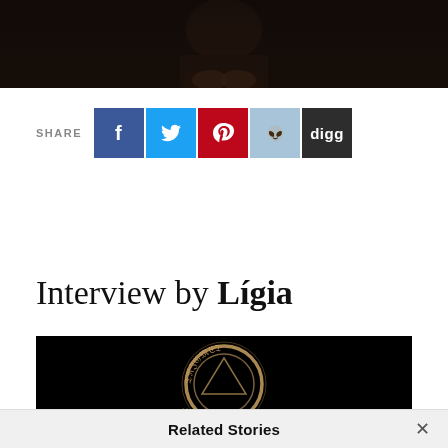[Figure (photo): Dark atmospheric photo of a person with beard, hands clasped, wearing dark clothing against a dark background — top portion of the image visible]
SHARE
[Figure (infographic): Row of social share buttons: Facebook (blue f), Twitter (blue bird), Pinterest (red p), Reddit (light blue alien), Digg (dark grey 'digg')]
Interview by Lígia
[Figure (photo): Dark image showing a circular gothic/occult style emblem or seal with old English lettering on a black background]
Related Stories ×